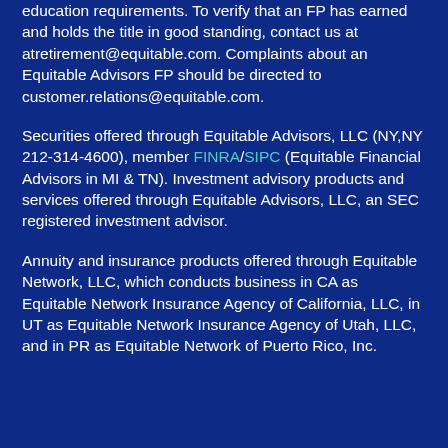education requirements. To verify that an FP has earned and holds the title in good standing, contact us at atretirement@equitable.com. Complaints about an Equitable Advisors FP should be directed to customer.relations@equitable.com.
Securities offered through Equitable Advisors, LLC (NY,NY 212-314-4600), member FINRA/SIPC (Equitable Financial Advisors in MI & TN). Investment advisory products and services offered through Equitable Advisors, LLC, an SEC registered investment advisor.
Annuity and insurance products offered through Equitable Network, LLC, which conducts business in CA as Equitable Network Insurance Agency of California, LLC, in UT as Equitable Network Insurance Agency of Utah, LLC, and in PR as Equitable Network of Puerto Rico, Inc.